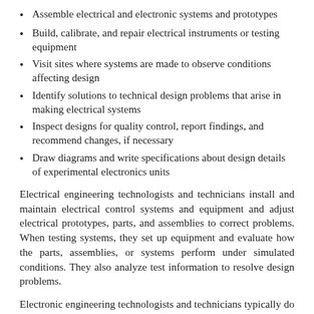Assemble electrical and electronic systems and prototypes
Build, calibrate, and repair electrical instruments or testing equipment
Visit sites where systems are made to observe conditions affecting design
Identify solutions to technical design problems that arise in making electrical systems
Inspect designs for quality control, report findings, and recommend changes, if necessary
Draw diagrams and write specifications about design details of experimental electronics units
Electrical engineering technologists and technicians install and maintain electrical control systems and equipment and adjust electrical prototypes, parts, and assemblies to correct problems. When testing systems, they set up equipment and evaluate how the parts, assemblies, or systems perform under simulated conditions. They also analyze test information to resolve design problems.
Electronic engineering technologists and technicians typically do the following: